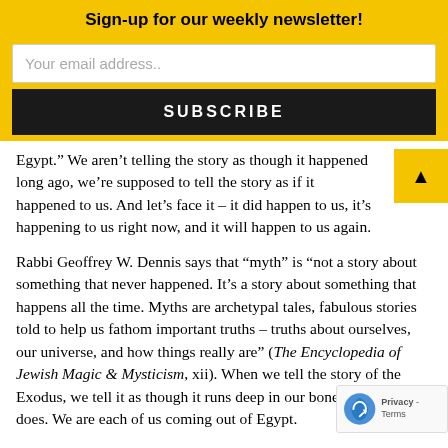Sign-up for our weekly newsletter!
Your email address..
SUBSCRIBE
Egypt." We aren’t telling the story as though it happened long ago, we’re supposed to tell the story as if it happened to us. And let’s face it – it did happen to us, it’s happening to us right now, and it will happen to us again.
Rabbi Geoffrey W. Dennis says that “myth” is “not a story about something that never happened. It’s a story about something that happens all the time. Myths are archetypal tales, fabulous stories told to help us fathom important truths – truths about ourselves, our universe, and how things really are” (The Encyclopedia of Jewish Magic & Mysticism, xii). When we tell the story of the Exodus, we tell it as though it runs deep in our bones, because it does. We are each of us coming out of Egypt.